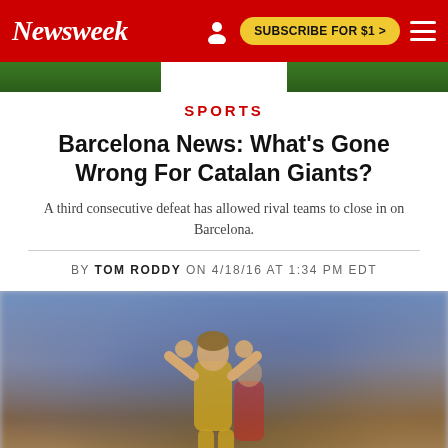Newsweek | SUBSCRIBE FOR $1 >
SPORTS
Barcelona News: What's Gone Wrong For Catalan Giants?
A third consecutive defeat has allowed rival teams to close in on Barcelona.
BY TOM RODDY ON 4/18/16 AT 1:34 PM EDT
[Figure (photo): Two soccer players, one in a yellow jersey appearing distressed with hands on head, in front of a blurred crowd of Barcelona fans in blue and red.]